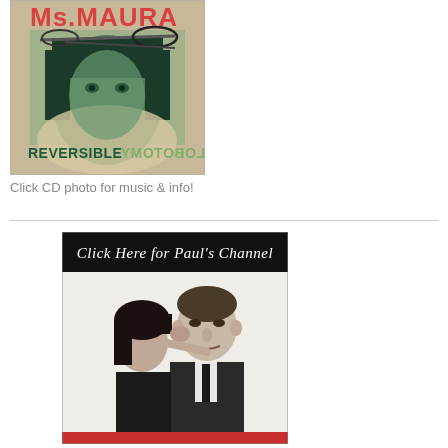[Figure (illustration): CD cover for 'Ms. Maura - Reversible Lobotomy'. Shows a woman with dark hair and green tint, scissors above her head. Text reads 'Ms.MAURA' in red at top and 'REVERSIBLE LOBOTOMY' at bottom with mirrored text effect.]
Click CD photo for music & info!
[Figure (photo): Black and white photo of a woman kissing a man on the cheek. Man is wearing a suit and tie. Banner at top reads 'Click Here for Paul's Channel' in cursive script on black background. Red element visible at bottom.]